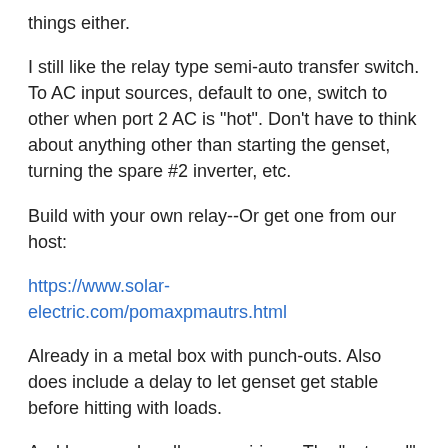things either.
I still like the relay type semi-auto transfer switch. To AC input sources, default to one, switch to other when port 2 AC is "hot". Don't have to think about anything other than starting the genset, turning the spare #2 inverter, etc.
Build with your own relay--Or get one from our host:
https://www.solar-electric.com/pomaxpmautrs.html
Already in a metal box with punch-outs. Also does include a delay to let genset get stable before hitting with loads.
And how you handle your wiring... The "external" 10 circuit manual transfer switch (again, output of transfer relay into "alt input" for transfer switch--Can be "automatic" transfer based on relay (or more complex) auto-start without having to make subpanels and rewiring your home main panel.
Or, just a pigtale cord from xferswitch input, and two (or more) AC outlets next to it (Inverter #1, Inverter #2, Genset #1, etc.). Just plug into the AC source you want (put a small LED light